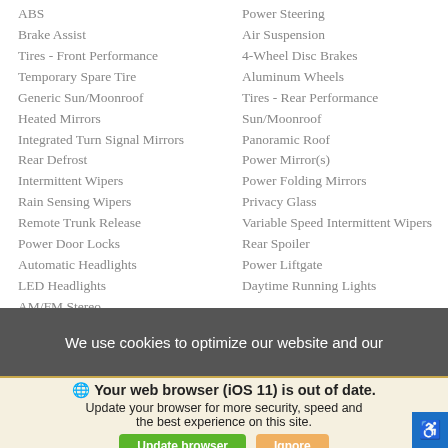ABS
Brake Assist
Tires - Front Performance
Temporary Spare Tire
Generic Sun/Moonroof
Heated Mirrors
Integrated Turn Signal Mirrors
Rear Defrost
Intermittent Wipers
Rain Sensing Wipers
Remote Trunk Release
Power Door Locks
Automatic Headlights
LED Headlights
AM/FM Stereo
Power Steering
Air Suspension
4-Wheel Disc Brakes
Aluminum Wheels
Tires - Rear Performance
Sun/Moonroof
Panoramic Roof
Power Mirror(s)
Power Folding Mirrors
Privacy Glass
Variable Speed Intermittent Wipers
Rear Spoiler
Power Liftgate
Daytime Running Lights
We use cookies to optimize our website and our
Your web browser (iOS 11) is out of date. Update your browser for more security, speed and the best experience on this site.
Update browser
Ignore